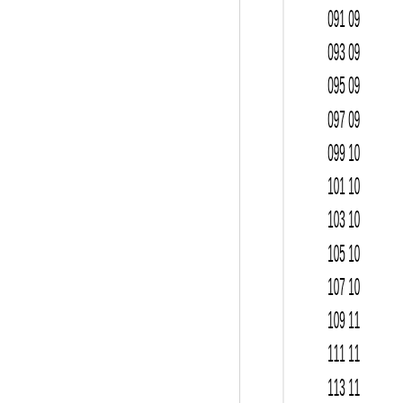| 091 09 |
| 093 09 |
| 095 09 |
| 097 09 |
| 099 10 |
| 101 10 |
| 103 10 |
| 105 10 |
| 107 10 |
| 109 11 |
| 111 11 |
| 113 11 |
| 115 11 |
| 117 11 |
| 119 12 |
| 121 12 |
| 123 12 |
| 125 12 |
| 127 1 |